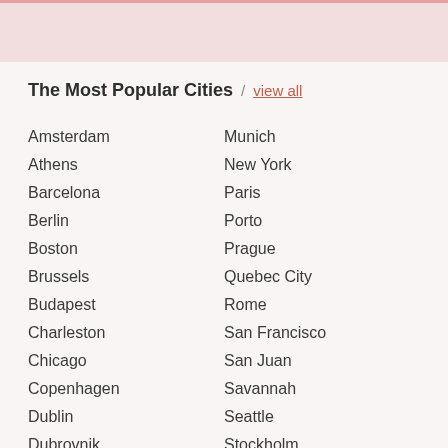The Most Popular Cities / view all
Amsterdam
Athens
Barcelona
Berlin
Boston
Brussels
Budapest
Charleston
Chicago
Copenhagen
Dublin
Dubrovnik
Edinburgh
Florence
Munich
New York
Paris
Porto
Prague
Quebec City
Rome
San Francisco
San Juan
Savannah
Seattle
Stockholm
Toronto
Vancouver